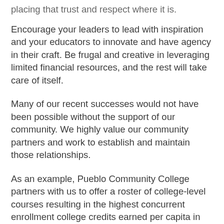placing that trust and respect where it is.
Encourage your leaders to lead with inspiration and your educators to innovate and have agency in their craft. Be frugal and creative in leveraging limited financial resources, and the rest will take care of itself.
Many of our recent successes would not have been possible without the support of our community. We highly value our community partners and work to establish and maintain those relationships.
As an example, Pueblo Community College partners with us to offer a roster of college-level courses resulting in the highest concurrent enrollment college credits earned per capita in the state. We also partnered with them to become the first rural school in the US to earn...